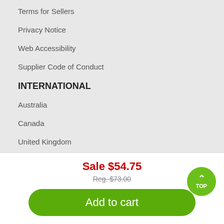Terms for Sellers
Privacy Notice
Web Accessibility
Supplier Code of Conduct
INTERNATIONAL
Australia
Canada
United Kingdom
United States & Worldwide
Sale $54.75
Reg. $73.00
Add to cart